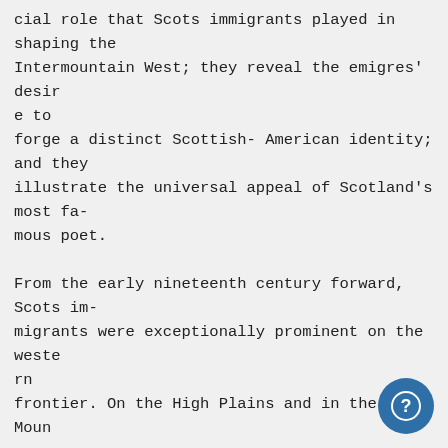cial role that Scots immigrants played in shaping the Intermountain West; they reveal the emigres' desire to forge a distinct Scottish- American identity; and they illustrate the universal appeal of Scotland's most famous poet.

From the early nineteenth century forward, Scots immigrants were exceptionally prominent on the western frontier. On the High Plains and in the Rocky Mountain West, Scots served as explorers, traveling botanists, fur traders, miners and missionary educators.' In Colorado and Wyoming, the Scots dominated late-nineteenth-early twentieth century cattle and sheep ranching. For years Murdo Mackenzie managed the Mata-